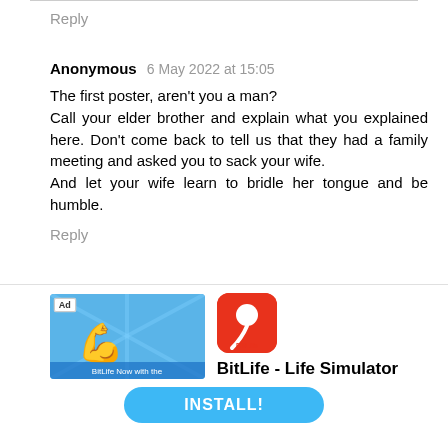Reply
Anonymous 6 May 2022 at 15:05
The first poster, aren't you a man?
Call your elder brother and explain what you explained here. Don't come back to tell us that they had a family meeting and asked you to sack your wife.
And let your wife learn to bridle her tongue and be humble.
Reply
▾ Replies
Anonymous 6 May 2022 at 17:45
I just wonder, it's not that serious to send a
[Figure (infographic): Ad banner: BitLife - Life Simulator app advertisement with arm/muscle emoji graphic on blue background, app icon on red background, and INSTALL! button]
BitLife - Life Simulator
INSTALL!